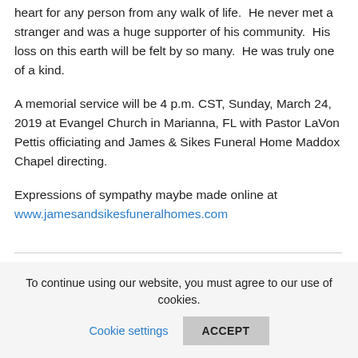He was an amazing father and had a big and kind enough heart for any person from any walk of life.  He never met a stranger and was a huge supporter of his community.  His loss on this earth will be felt by so many.  He was truly one of a kind.
A memorial service will be 4 p.m. CST, Sunday, March 24, 2019 at Evangel Church in Marianna, FL with Pastor LaVon Pettis officiating and James & Sikes Funeral Home Maddox Chapel directing.
Expressions of sympathy maybe made online at www.jamesandsikesfuneralhomes.com
To continue using our website, you must agree to our use of cookies. Cookie settings ACCEPT